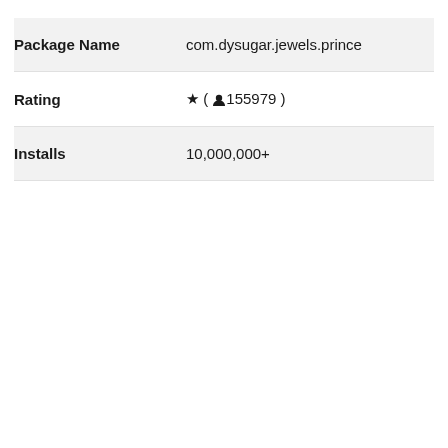| Field | Value |
| --- | --- |
| Package Name | com.dysugar.jewels.prince |
| Rating | ★ ( 👤155979 ) |
| Installs | 10,000,000+ |